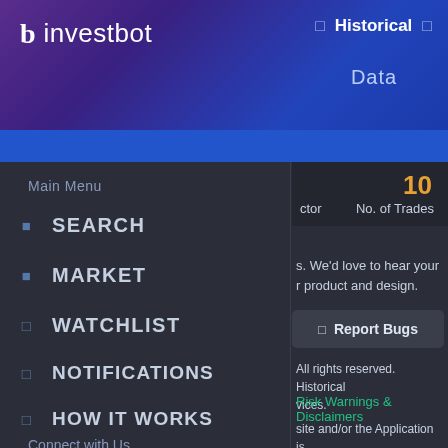investbot — Historical Data
10
ctor   No. of Trades
s. We'd love to hear your
r product and design.
Report Bugs
All rights reserved. Historical
vices.
Risk Warnings & Disclaimers
site and/or the Application is
hould be used as references
Main Menu
SEARCH
MARKET
WATCHLIST
NOTIFICATIONS
HOW IT WORKS
Connect with Us